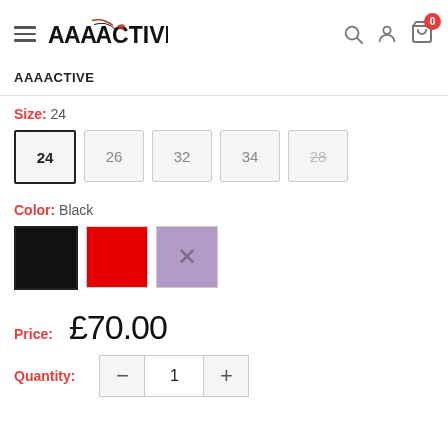AAAACTIVE — navigation header with hamburger menu, logo, search, account, and cart (0 items)
AAAACTIVE
Size: 24
Size options: 24 (selected), 26, 32, 34, 28 (strikethrough/unavailable)
Color: Black
Color options: Black (selected), Red, Purple (unavailable/X)
Price: £70.00
Quantity: 1